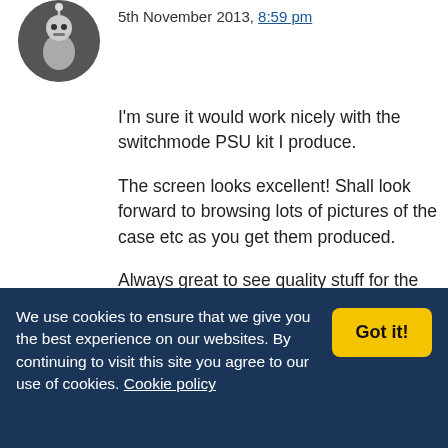[Figure (photo): User avatar: circular profile picture of a robot/character figure against a dark background]
5th November 2013, 8:59 pm
I'm sure it would work nicely with the switchmode PSU kit I produce.

The screen looks excellent! Shall look forward to browsing lots of pictures of the case etc as you get them produced.

Always great to see quality stuff for the Raspberry Pi which extends how it can be used.
We use cookies to ensure that we give you the best experience on our websites. By continuing to visit this site you agree to our use of cookies. Cookie policy